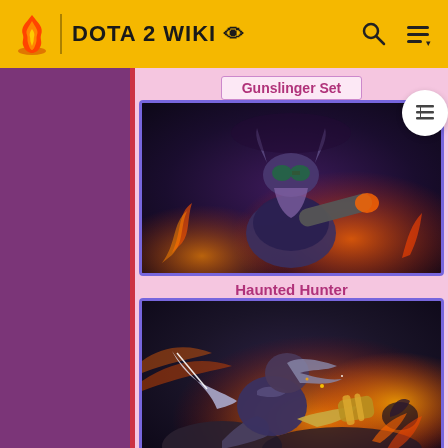DOTA 2 WIKI
Gunslinger Set
[Figure (illustration): Haunted Hunter - a dwarf-like character with horned helmet and large cannon, dark fantasy art style]
Haunted Hunter
[Figure (illustration): Hinterland Stalker - armored character with blades in a fiery orange battlefield setting]
Hinterland Stalker